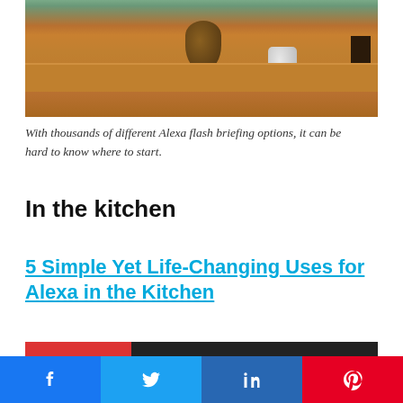[Figure (photo): A wooden shelf with objects including a decorative vase, a red book, a white cylindrical device, a lamp, and a green plant painting in the background.]
With thousands of different Alexa flash briefing options, it can be hard to know where to start.
In the kitchen
5 Simple Yet Life-Changing Uses for Alexa in the Kitchen
[Figure (photo): Partial photo visible at bottom of page, appears to show kitchen scene.]